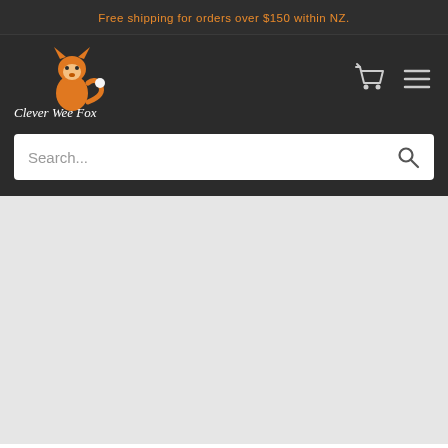Free shipping for orders over $150 within NZ.
[Figure (logo): Clever Wee Fox logo with orange fox icon and white italic text 'Clever Wee Fox']
[Figure (other): Shopping cart icon and hamburger menu icon in white]
Search...